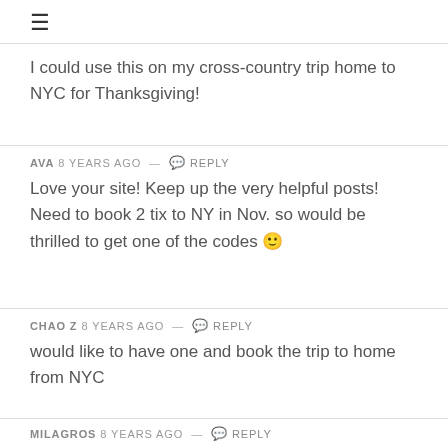≡
I could use this on my cross-country trip home to NYC for Thanksgiving!
AVA 8 years ago — Reply
Love your site! Keep up the very helpful posts! Need to book 2 tix to NY in Nov. so would be thrilled to get one of the codes 🙂
CHAO Z 8 years ago — Reply
would like to have one and book the trip to home from NYC
MILAGROS 8 years ago — Reply